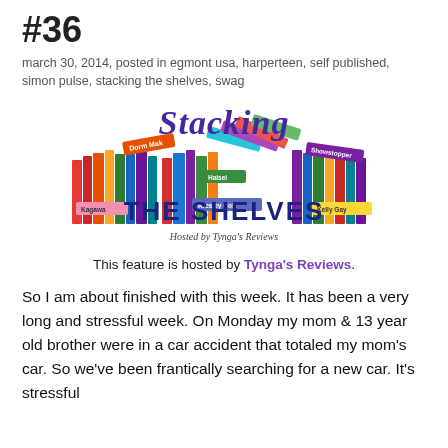#36
march 30, 2014, posted in egmont usa, harperteen, self published, simon pulse, stacking the shelves, swag
[Figure (illustration): Stacking the Shelves logo featuring colorful illustrated book spines arranged together with the text 'Stacking THE SHELVES' and 'Hosted by Tynga's Reviews' below.]
This feature is hosted by Tynga's Reviews.
So I am about finished with this week. It has been a very long and stressful week. On Monday my mom & 13 year old brother were in a car accident that totaled my mom's car. So we've been frantically searching for a new car. It's stressful